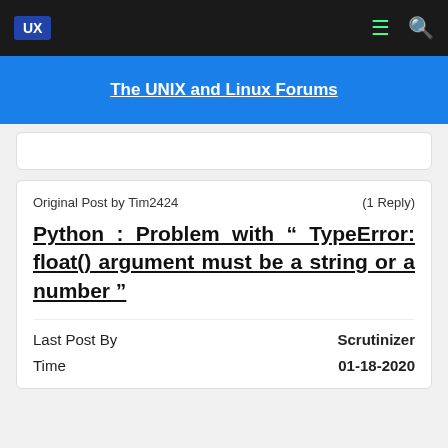UX
The UNIX and Linux Forums
Original Post by Tim2424   (1 Reply)
Python : Problem with " TypeError: float() argument must be a string or a number "
Last Post By   Scrutinizer
Time   01-18-2020